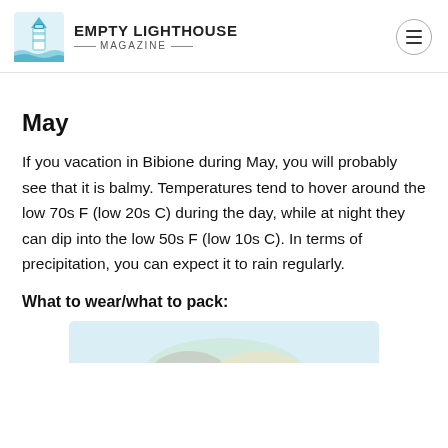EMPTY LIGHTHOUSE MAGAZINE
May
If you vacation in Bibione during May, you will probably see that it is balmy. Temperatures tend to hover around the low 70s F (low 20s C) during the day, while at night they can dip into the low 50s F (low 10s C). In terms of precipitation, you can expect it to rain regularly.
What to wear/what to pack:
[Figure (photo): Partial image of clothing or packed items, cropped at bottom of page]